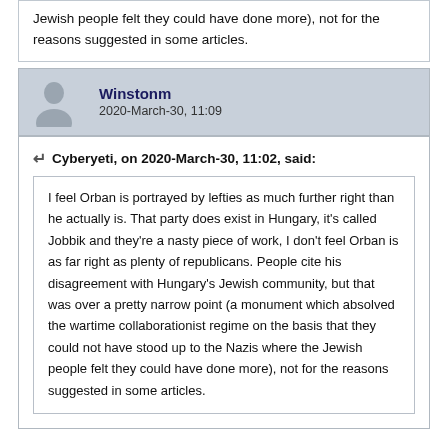Jewish people felt they could have done more), not for the reasons suggested in some articles.
Winstonm
2020-March-30, 11:09
Cyberyeti, on 2020-March-30, 11:02, said:
I feel Orban is portrayed by lefties as much further right than he actually is. That party does exist in Hungary, it's called Jobbik and they're a nasty piece of work, I don't feel Orban is as far right as plenty of republicans. People cite his disagreement with Hungary's Jewish community, but that was over a pretty narrow point (a monument which absolved the wartime collaborationist regime on the basis that they could not have stood up to the Nazis where the Jewish people felt they could have done more), not for the reasons suggested in some articles.
Anyone who is willing to accept those kinds of powers is very far right. (See George Washington history for reference)